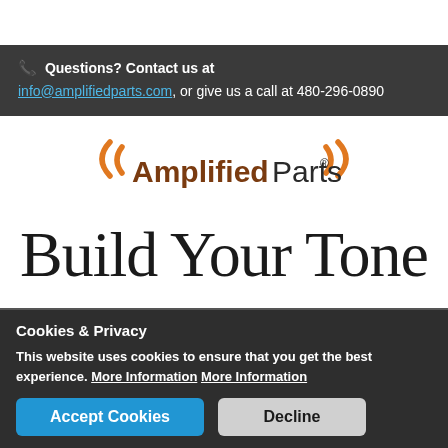Questions? Contact us at info@amplifiedparts.com, or give us a call at 480-296-0890
[Figure (logo): AmplifiedParts logo with orange sound wave parentheses on left and right, brown bold text 'Amplified' and dark text 'Parts' with registered trademark symbol]
Build Your Tone
Cookies & Privacy
This website uses cookies to ensure that you get the best experience. More Information More Information